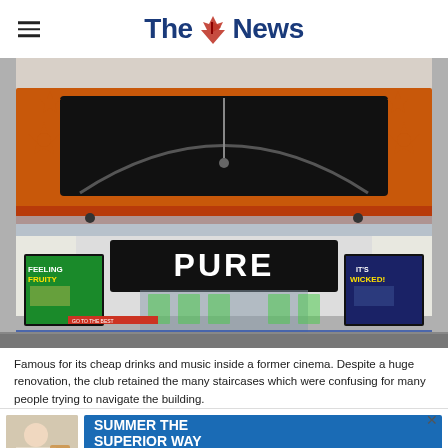The News
[Figure (photo): Exterior facade of Pure nightclub, a former cinema building with orange decorative trim, star motifs, large black fascia board, and the word PURE in white letters on a black sign. Two illuminated poster boards flank the entrance, one advertising 'Feeling Fruity' and one 'It's Wicked!'. Glass block doors visible at entrance.]
Famous for its cheap drinks and music inside a former cinema. Despite a huge renovation, the club retained the many staircases which were confusing for many people trying to navigate the building.